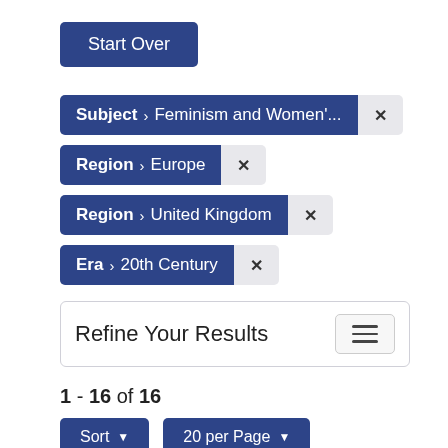Start Over
Subject › Feminism and Women'... ×
Region › Europe ×
Region › United Kingdom ×
Era › 20th Century ×
Refine Your Results
1 - 16 of 16
Sort ▼
20 per Page ▼